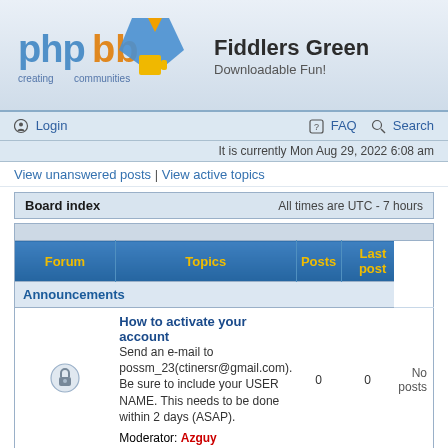Fiddlers Green - Downloadable Fun!
Login
FAQ  Search
It is currently Mon Aug 29, 2022 6:08 am
View unanswered posts | View active topics
| Board index | All times are UTC - 7 hours |
| --- | --- |
| Forum | Topics | Posts | Last post |
| --- | --- | --- | --- |
| Announcements |  |  |  |
| [lock icon] How to activate your account
Send an e-mail to possm_23(ctinersr@gmail.com). Be sure to include your USER NAME. This needs to be done within 2 days (ASAP).
Moderator: Azguy | 0 | 0 | No posts |
| [icon] Posting FAQs |  |  |  |